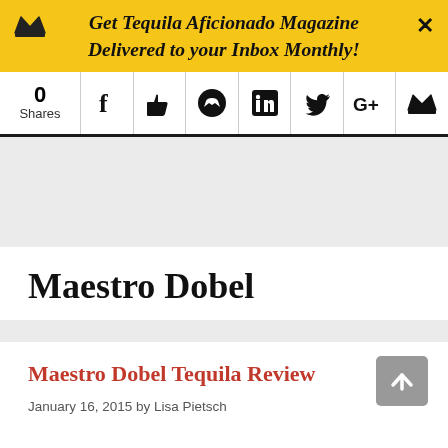Get Tequila Aficionado Magazine Delivered to your Inbox Monthly!
[Figure (screenshot): Social share bar with 0 Shares and icons for Facebook, Like, Messenger, LinkedIn, Twitter, Google+, and Crown/email]
[Figure (other): Gray advertisement placeholder area]
Maestro Dobel
Maestro Dobel Tequila Review
January 16, 2015 by Lisa Pietsch